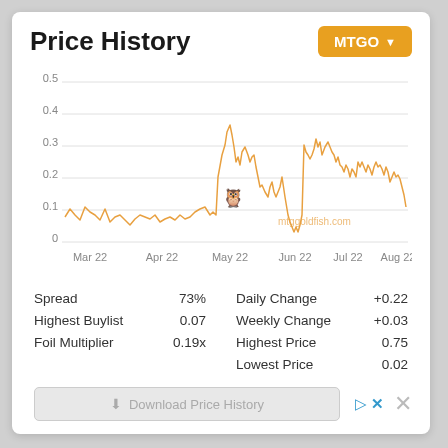Price History
[Figure (line-chart): Line chart showing MTGO price history from Mar 22 to Aug 22, with price ranging from ~0.02 to ~0.75, with spikes in late May and mid-July. Orange line on white background with mtggoldfish.com watermark.]
Spread	73%
Highest Buylist	0.07
Foil Multiplier	0.19x
Daily Change	+0.22
Weekly Change	+0.03
Highest Price	0.75
Lowest Price	0.02